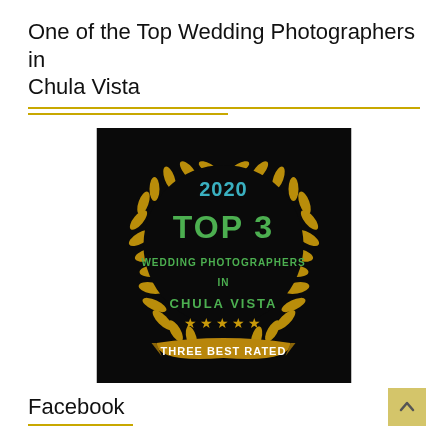One of the Top Wedding Photographers in Chula Vista
[Figure (illustration): Award badge on black background: '2020 TOP 3 WEDDING PHOTOGRAPHERS IN CHULA VISTA ★★★★★ THREE BEST RATED' surrounded by a golden laurel wreath]
Facebook